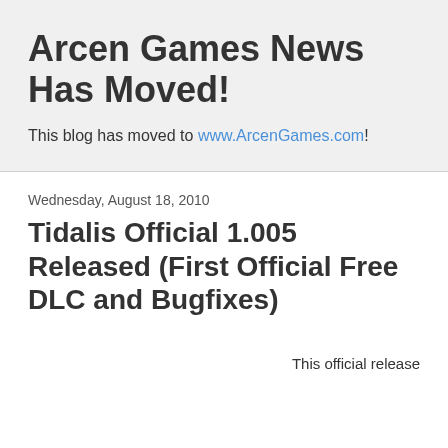Arcen Games News Has Moved!
This blog has moved to www.ArcenGames.com!
Wednesday, August 18, 2010
Tidalis Official 1.005 Released (First Official Free DLC and Bugfixes)
This official release